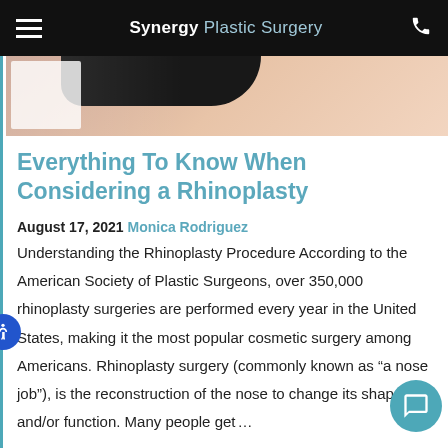Synergy Plastic Surgery
[Figure (photo): Partial view of a person's body/shoulder area, partially cropped, against a light background]
Everything To Know When Considering a Rhinoplasty
August 17, 2021 Monica Rodriguez
Understanding the Rhinoplasty Procedure According to the American Society of Plastic Surgeons, over 350,000 rhinoplasty surgeries are performed every year in the United States, making it the most popular cosmetic surgery among Americans. Rhinoplasty surgery (commonly known as “a nose job”), is the reconstruction of the nose to change its shape and/or function. Many people get ...